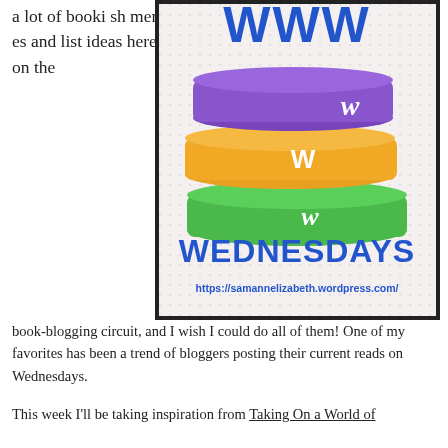a lot of bookish memes and list ideas here on the
[Figure (illustration): WWW Wednesdays meme image featuring a stack of three books (purple, orange, green) each with a stylized 'W' on the spine, large blue text reading 'WEDNESDAYS', and URL https://samannelizabeth.wordpress.com/ shown below. Large WWW letters appear at the top of the image.]
book-blogging circuit, and I wish I could do all of them! One of my favorites has been a trend of bloggers posting their current reads on Wednesdays.
This week I'll be taking inspiration from Taking On a World of Words' take on the meme: WWW Wednesday.